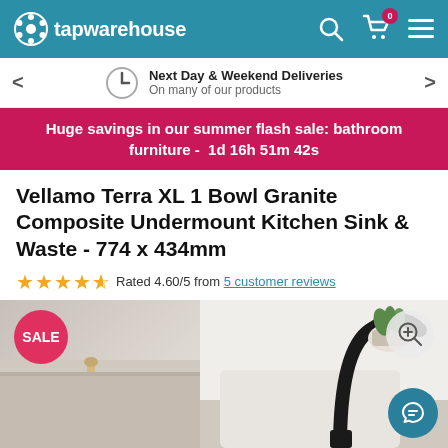tapwarehouse
Next Day & Weekend Deliveries
On many of our products
Huge savings in our summer flash sale: bathroom furniture -  1d 16h 51m 42s
Vellamo Terra XL 1 Bowl Granite Composite Undermount Kitchen Sink & Waste - 774 x 434mm
Rated 4.60/5 from 5 customer reviews
[Figure (photo): Product photo of a granite composite undermount kitchen sink with a black faucet, small potted plant, and wooden mortar and pestle on counter. SALE badge visible.]